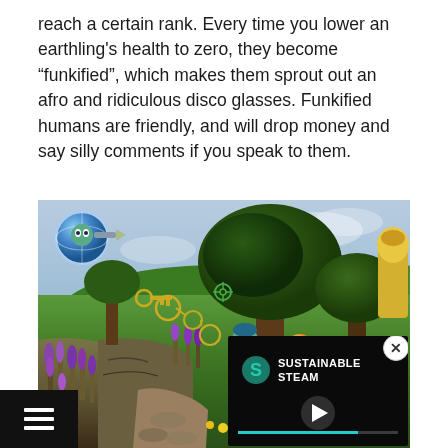reach a certain rank. Every time you lower an earthling's health to zero, they become “funkified”, which makes them sprout out an afro and ridiculous disco glasses. Funkified humans are friendly, and will drop money and say silly comments if you speak to them.
[Figure (screenshot): A 3D video game screenshot showing a colorful open world environment with trees, purple flowers, grassy cliffs, and a character with a blue/purple appearance. A globe-like HUD element is visible top-left. There is an overlaid video player thumbnail in the bottom-right corner showing 'SUSTAINABLE STEAM' branding with a play button and teal progress bar. A close (X) button is visible on the video overlay.]